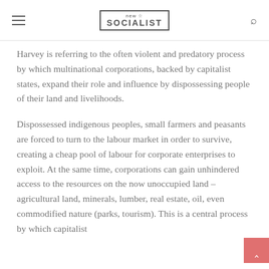new socialist
Harvey is referring to the often violent and predatory process by which multinational corporations, backed by capitalist states, expand their role and influence by dispossessing people of their land and livelihoods.
Dispossessed indigenous peoples, small farmers and peasants are forced to turn to the labour market in order to survive, creating a cheap pool of labour for corporate enterprises to exploit. At the same time, corporations can gain unhindered access to the resources on the now unoccupied land – agricultural land, minerals, lumber, real estate, oil, even commodified nature (parks, tourism). This is a central process by which capitalist